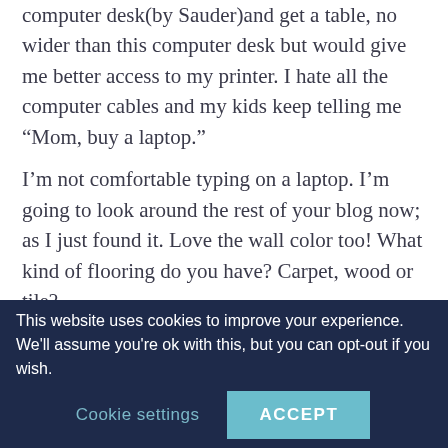computer desk(by Sauder)and get a table, no wider than this computer desk but would give me better access to my printer. I hate all the computer cables and my kids keep telling me “Mom, buy a laptop.”
I’m not comfortable typing on a laptop. I’m going to look around the rest of your blog now; as I just found it. Love the wall color too! What kind of flooring do you have? Carpet, wood or tile?
This website uses cookies to improve your experience. We'll assume you're ok with this, but you can opt-out if you wish. Cookie settings ACCEPT